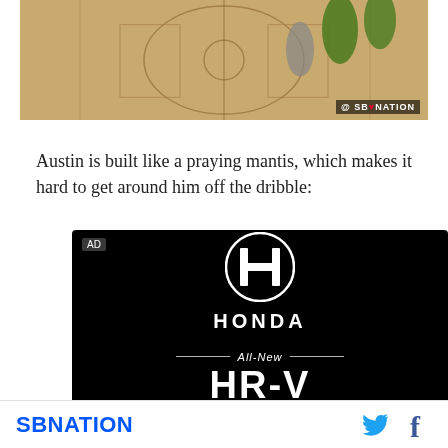[Figure (photo): Basketball court aerial view showing players, one in green uniform, with SBNation watermark in bottom right corner]
Austin is built like a praying mantis, which makes it hard to get around him off the dribble:
[Figure (other): Honda advertisement on black background showing Honda logo, 'All-New HR-V' text, and 'Powered by determination.' tagline. AD label in top left.]
SBNATION [Twitter icon] [Facebook icon]